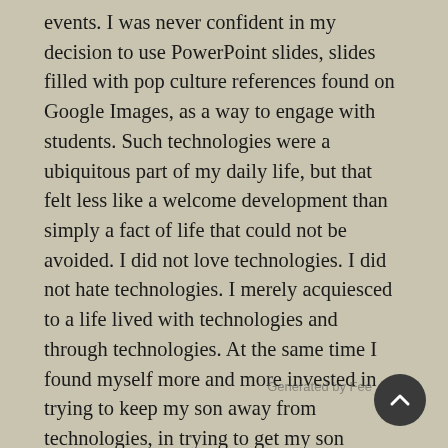events. I was never confident in my decision to use PowerPoint slides, slides filled with pop culture references found on Google Images, as a way to engage with students. Such technologies were a ubiquitous part of my daily life, but that felt less like a welcome development than simply a fact of life that could not be avoided. I did not love technologies. I did not hate technologies. I merely acquiesced to a life lived with technologies and through technologies. At the same time I found myself more and more invested in trying to keep my son away from technologies, in trying to get my son outside as much as possible, in trying to get my son to prefer forests over Frozen and playgrounds over PAW Patrol. I knew my son liked technologies and that I could not prevent him from using technologies. I also knew that familiarity with technologies could only help him to advance in our technological world. But he wanted to use technologies a little too much. He got a little too upset when I took them away. He could be a little too absorbed in the technologies was using. And it often felt a little too easy for me to turn to